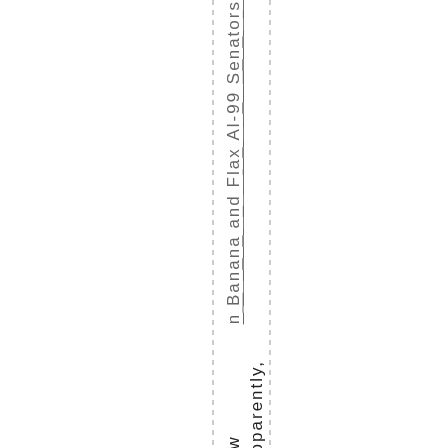n Banana and Flax Al-99 Senators
Apparently, law